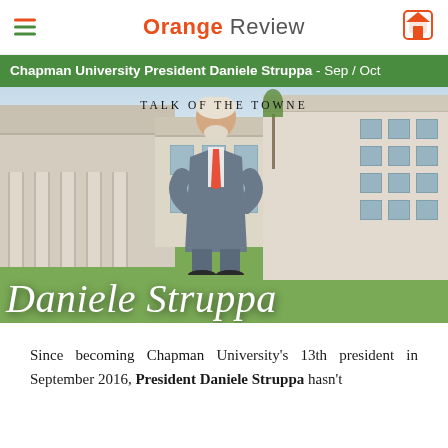Orange Review
Chapman University President Daniele Struppa - Sep / Oct
[Figure (photo): Magazine cover-style photo of Daniele Struppa standing with arms crossed on Chapman University campus lawn, with classical and modern university buildings in background. Text 'Talk Of The Towne' appears at top and 'Daniele Struppa' in large italic white text overlaid at bottom.]
Since becoming Chapman University's 13th president in September 2016, President Daniele Struppa hasn't